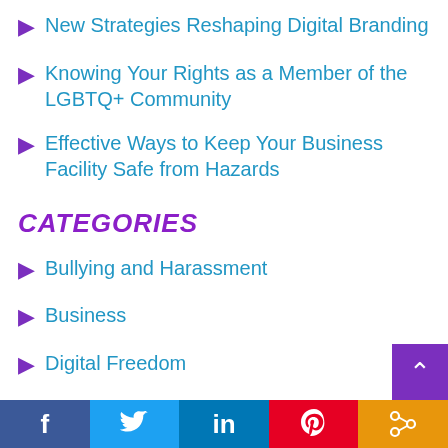New Strategies Reshaping Digital Branding
Knowing Your Rights as a Member of the LGBTQ+ Community
Effective Ways to Keep Your Business Facility Safe from Hazards
CATEGORIES
Bullying and Harassment
Business
Digital Freedom
Freedom of Expression
f  Twitter  in  P  Share